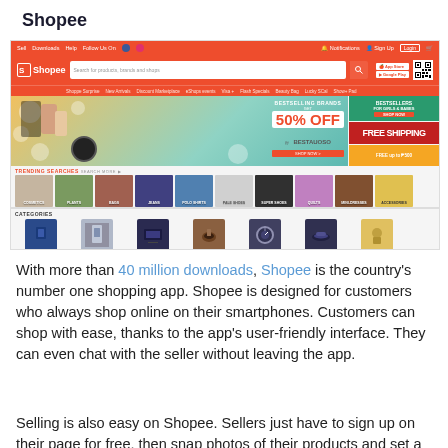Shopee
[Figure (screenshot): Screenshot of the Shopee e-commerce website homepage showing the orange navigation bar with logo and search bar, promotional banners including '50% OFF Bestselling Brands' and 'Free Shipping', trending searches section with product thumbnails, and categories section showing Men's Apparel, Mobiles & Gadgets, Consumer Electronics, Home & Living, Men's Accessories, Men's Shoes, and Food.]
With more than 40 million downloads, Shopee is the country's number one shopping app. Shopee is designed for customers who always shop online on their smartphones. Customers can shop with ease, thanks to the app's user-friendly interface. They can even chat with the seller without leaving the app.
Selling is also easy on Shopee. Sellers just have to sign up on their page for free, then snap photos of their products and set a